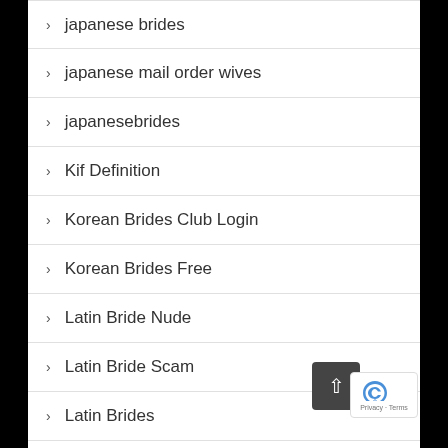japanese brides
japanese mail order wives
japanesebrides
Kif Definition
Korean Brides Club Login
Korean Brides Free
Latin Bride Nude
Latin Bride Scam
Latin Brides
Latin Brides For Marriage